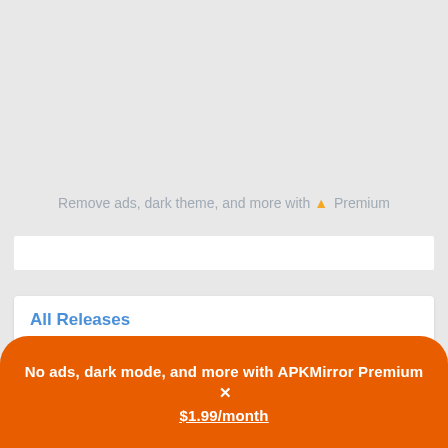Remove ads, dark theme, and more with ▲ Premium
All Releases
Firefox Fast & Private Browser 104.1.0
● 5 variants
No ads, dark mode, and more with APKMirror Premium ✕ $1.99/month